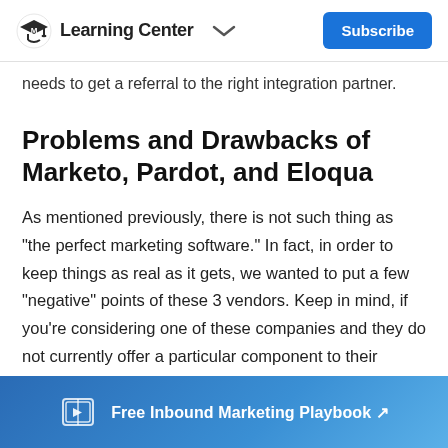Learning Center  Subscribe
needs to get a referral to the right integration partner.
Problems and Drawbacks of Marketo, Pardot, and Eloqua
As mentioned previously, there is not such thing as "the perfect marketing software." In fact, in order to keep things as real as it gets, we wanted to put a few "negative" points of these 3 vendors. Keep in mind, if you're considering one of these companies and they do not currently offer a particular component to their software you desire
Free Inbound Marketing Playbook ↗